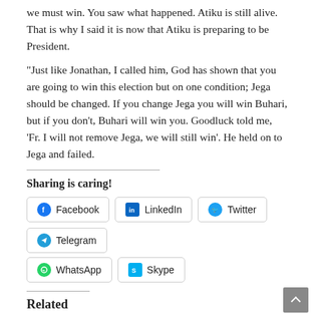we must win. You saw what happened. Atiku is still alive. That is why I said it is now that Atiku is preparing to be President.
"Just like Jonathan, I called him, God has shown that you are going to win this election but on one condition; Jega should be changed. If you change Jega you will win Buhari, but if you don't, Buhari will win you. Goodluck told me, 'Fr. I will not remove Jega, we will still win'. He held on to Jega and failed.
Sharing is caring!
Facebook
LinkedIn
Twitter
Telegram
WhatsApp
Skype
Related
[Figure (photo): Document/letter image]
[Figure (photo): Person in robes/vestment]
[Figure (photo): Man speaking, red background]